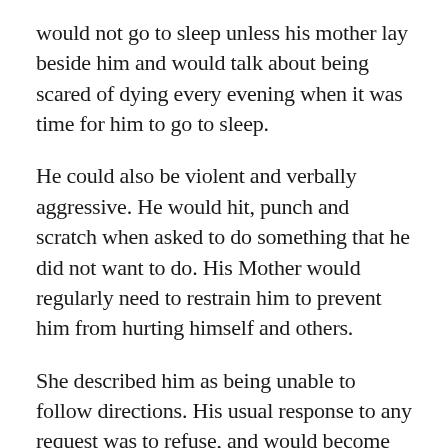would not go to sleep unless his mother lay beside him and would talk about being scared of dying every evening when it was time for him to go to sleep.
He could also be violent and verbally aggressive. He would hit, punch and scratch when asked to do something that he did not want to do. His Mother would regularly need to restrain him to prevent him from hurting himself and others.
She described him as being unable to follow directions. His usual response to any request was to refuse, and would become violent, if she insisted on compliance.